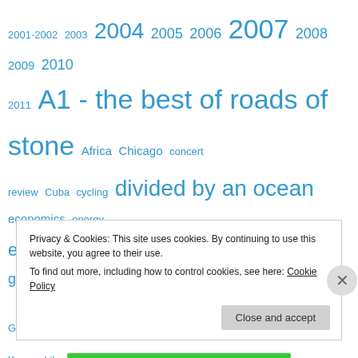[Figure (infographic): Tag cloud with various topic words in blue, sized by frequency/importance. Tags include: 2001-2002, 2003, 2004, 2005, 2006, 2007, 2008, 2009, 2010, 2011, A1 - the best of roads of stone, Africa, Chicago, concert review, Cuba, cycling, divided by an ocean, economics, energy, environment, evolution, football, France, geology, global warming, golf, Greece, Guildford, heroes, history, Houston, Iraq, Kenya, Libya, life and times, London, music, Paris, peak oil, poetry, politics, racing, rowing, Scandinavia, science, Scotland, Shakespeare Country, Spain, sports, summer, Surrey and Sussex, Switzerland, the marathon journey, training, travel, Turkey, united]
Privacy & Cookies: This site uses cookies. By continuing to use this website, you agree to their use. To find out more, including how to control cookies, see here: Cookie Policy
Close and accept